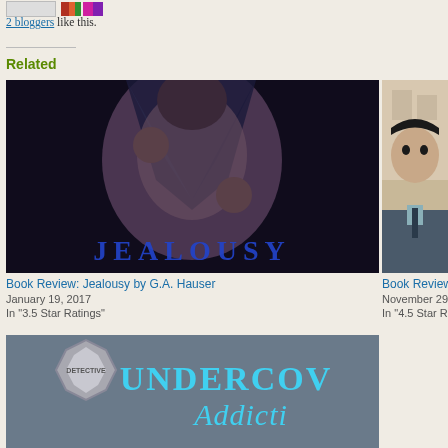2 bloggers like this.
Related
[Figure (illustration): Book cover for 'Jealousy' showing a muscular man opening his shirt, dark blue tones, with the word JEALOUSY in blue letters at the bottom]
Book Review: Jealousy by G.A. Hauser
January 19, 2017
In "3.5 Star Ratings"
[Figure (illustration): Partial book cover showing a young man in a suit and tie, realistic painted style]
Book Review:
November 29,
In "4.5 Star Ra
[Figure (illustration): Partial book cover for 'Undercover Addiction' showing a detective badge and blue stylized text]